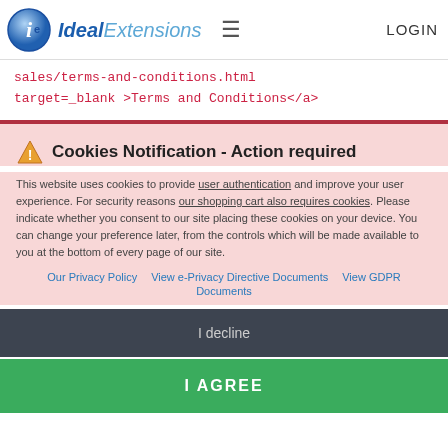Ideal Extensions - LOGIN
sales/terms-and-conditions.html
target=_blank >Terms and Conditions</a>
Cookies Notification - Action required
This website uses cookies to provide user authentication and improve your user experience. For security reasons our shopping cart also requires cookies. Please indicate whether you consent to our site placing these cookies on your device. You can change your preference later, from the controls which will be made available to you at the bottom of every page of our site.
Our Privacy Policy   View e-Privacy Directive Documents   View GDPR Documents
I decline
I AGREE